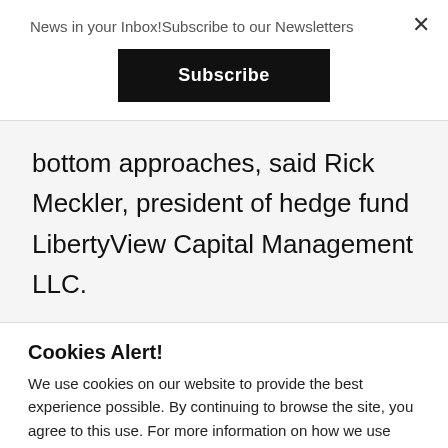News in your Inbox!Subscribe to our Newsletters
Subscribe
bottom approaches, said Rick Meckler, president of hedge fund LibertyView Capital Management LLC.
Cookies Alert!
We use cookies on our website to provide the best experience possible. By continuing to browse the site, you agree to this use. For more information on how we use cookies, see our Privacy Policy.
Cookie settings
ACCEPT